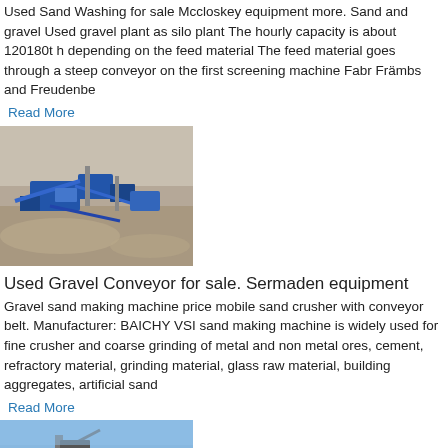Used Sand Washing for sale Mccloskey equipment more. Sand and gravel Used gravel plant as silo plant The hourly capacity is about 120180t h depending on the feed material The feed material goes through a steep conveyor on the first screening machine Fabr Främbs and Freudenbe
Read More
[Figure (photo): Aerial view of a gravel/sand processing plant with blue machinery and conveyors in an open pit quarry setting]
Used Gravel Conveyor for sale. Sermaden equipment
Gravel sand making machine price mobile sand crusher with conveyor belt. Manufacturer: BAICHY VSI sand making machine is widely used for fine crusher and coarse grinding of metal and non metal ores, cement, refractory material, grinding material, glass raw material, building aggregates, artificial sand
Read More
[Figure (photo): Partial view of industrial conveyor equipment against a blue sky background]